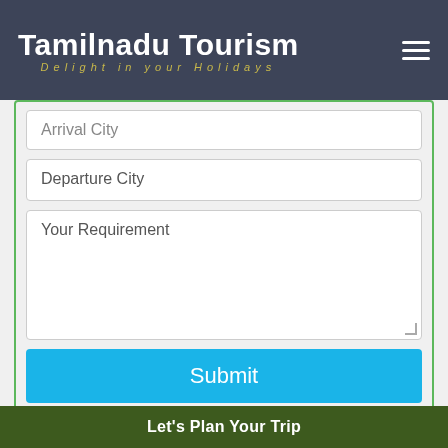Tamilnadu Tourism — Delight in your Holidays
Arrival City
Departure City
Your Requirement
Submit
TAMILNADU TOUR PACKAGES
Temple Tour Packages
Let's Plan Your Trip